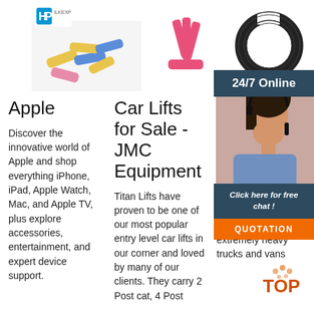[Figure (photo): HP logo top left above product photos]
[Figure (photo): Colorful cylindrical connectors/components scattered - yellow, pink, blue]
[Figure (photo): Three pink/magenta fork-shaped connectors on white background]
[Figure (photo): Black coiled/corrugated hose or tube in a circular shape on white background]
[Figure (photo): 24/7 Online banner - dark navy background with white bold text]
[Figure (photo): Customer service representative woman with headset smiling - overlaid on right side]
[Figure (infographic): Click here for free chat - dark navy panel with italic white text and orange QUOTATION button below]
Apple
Discover the innovative world of Apple and shop everything iPhone, iPad, Apple Watch, Mac, and Apple TV, plus explore accessories, entertainment, and expert device support.
Car Lifts for Sale - JMC Equipment
Titan Lifts have proven to be one of our most popular entry level car lifts in our corner and loved by many of our clients. They carry 2 Post cat, 4 Post
Two Post Lifts Ben...
The XR... two-po... offers 1... of liftin... Not only does this lift let you operate on low-profile cars, it has the ability to lift some extremely heavy trucks and vans
[Figure (logo): TOP badge with orange dot pattern in lower right area]